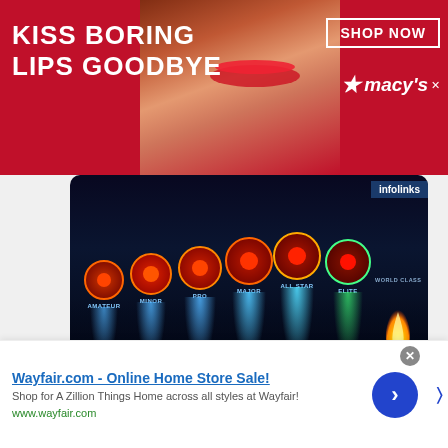[Figure (photo): Top advertising banner for Macy's cosmetics - red background with close-up of woman's face with red lips, text 'KISS BORING LIPS GOODBYE', 'SHOP NOW' button and Macy's logo]
[Figure (screenshot): Game screenshot showing Poker Heat league progression system with multiple tiers including AMATEUR, MINOR, PRO, MAJOR, ALL STAR, ELITE, WORLD CLASS badges with blue glowing beams and a golden flame]
Poker Heat Tips: Leagues, Promotions & Free Chips
Guides, Tips & Tricks
Guide for playing Poker Heat how to get more of it and advance to the next leagues. Tips for getting more free chips and all promotions explained.
[Figure (photo): Wayfair online advertisement - 'Wayfair.com - Online Home Store Sale! Shop for A Zillion Things Home across all styles at Wayfair! www.wayfair.com' with blue arrow button]